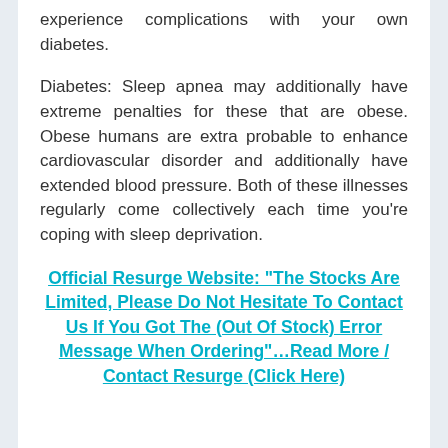experience complications with your own diabetes.
Diabetes: Sleep apnea may additionally have extreme penalties for these that are obese. Obese humans are extra probable to enhance cardiovascular disorder and additionally have extended blood pressure. Both of these illnesses regularly come collectively each time you're coping with sleep deprivation.
Official Resurge Website: "The Stocks Are Limited, Please Do Not Hesitate To Contact Us If You Got The (Out Of Stock) Error Message When Ordering"...Read More / Contact Resurge (Click Here)